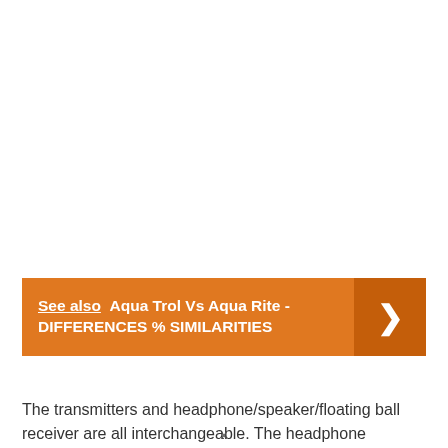See also  Aqua Trol Vs Aqua Rite - DIFFERENCES % SIMILARITIES
The transmitters and headphone/speaker/floating ball receiver are all interchangeable. The headphone